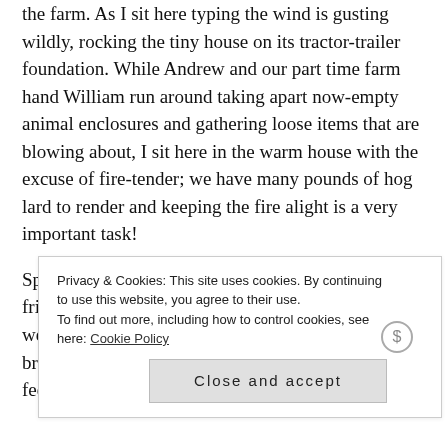the farm. As I sit here typing the wind is gusting wildly, rocking the tiny house on its tractor-trailer foundation. While Andrew and our part time farm hand William run around taking apart now-empty animal enclosures and gathering loose items that are blowing about, I sit here in the warm house with the excuse of fire-tender; we have many pounds of hog lard to render and keeping the fire alight is a very important task!
Speaking of hogs, all eighteen of our wonderful pig friends have been slaughtered over the past few weeks. The hogs are a huge part of our farm and bring a lot of character, so when they are first gone I feel their absence acutely.
Privacy & Cookies: This site uses cookies. By continuing to use this website, you agree to their use. To find out more, including how to control cookies, see here: Cookie Policy
Close and accept